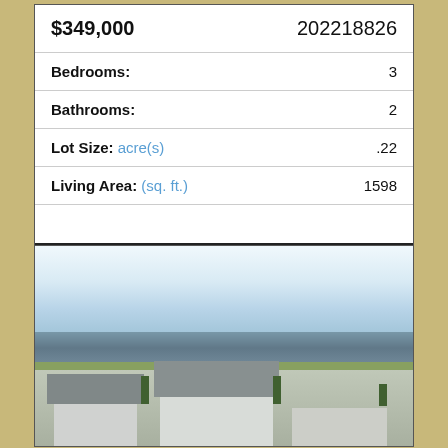| Field | Value |
| --- | --- |
| $349,000 | 202218826 |
| Bedrooms: | 3 |
| Bathrooms: | 2 |
| Lot Size: acre(s) | .22 |
| Living Area: (sq. ft.) | 1598 |
More about this Property
[Figure (photo): Exterior photo of residential houses near a lake or waterway, with green lawn in the foreground and overcast sky.]